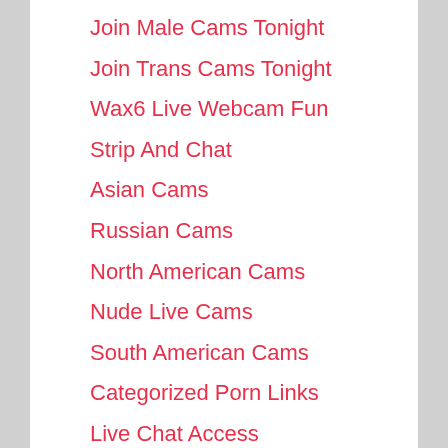Join Male Cams Tonight
Join Trans Cams Tonight
Wax6 Live Webcam Fun
Strip And Chat
Asian Cams
Russian Cams
North American Cams
Nude Live Cams
South American Cams
Categorized Porn Links
Live Chat Access
Nude Pussy Video
[Figure (photo): Thumbnail image partially visible at bottom of page with a LIVE badge]